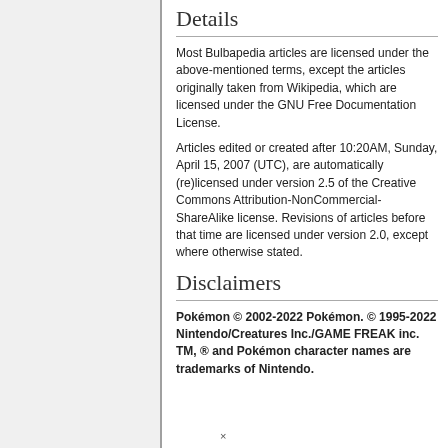Details
Most Bulbapedia articles are licensed under the above-mentioned terms, except the articles originally taken from Wikipedia, which are licensed under the GNU Free Documentation License.
Articles edited or created after 10:20AM, Sunday, April 15, 2007 (UTC), are automatically (re)licensed under version 2.5 of the Creative Commons Attribution-NonCommercial-ShareAlike license. Revisions of articles before that time are licensed under version 2.0, except where otherwise stated.
Disclaimers
Pokémon © 2002-2022 Pokémon. © 1995-2022 Nintendo/Creatures Inc./GAME FREAK inc. TM, ® and Pokémon character names are trademarks of Nintendo.
×